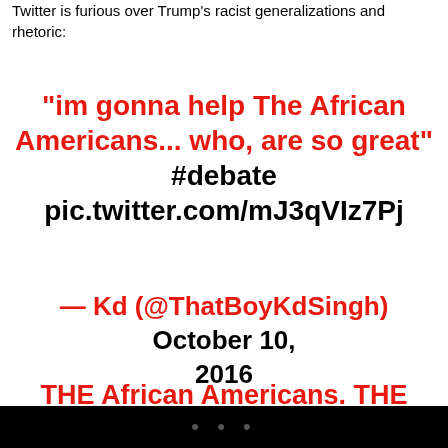Twitter is furious over Trump's racist generalizations and rhetoric:
"im gonna help The African Americans... who, are so great" #debate pic.twitter.com/mJ3qVIz7Pj
— Kd (@ThatBoyKdSingh) October 10, 2016
THE African Americans. THE Latinos. THE women. Objects. You use "the" in